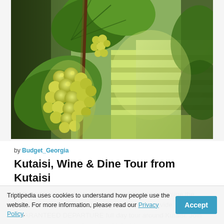[Figure (photo): Vineyard photo showing clusters of green/yellow grapes hanging from vines with large leaves, sunlit rows of vines in the background]
by Budget_Georgia
Kutaisi, Wine & Dine Tour from Kutaisi
Culture, history, monasteries, wine and Imeretian cuisine the most popular things in Kutaisi. That's why we provide GUARANTEED DEPARTURE full day tour around Kutaisi. Join our group tour and explore city with insiders
Triptipedia uses cookies to understand how people use the website. For more information, please read our Privacy Policy.